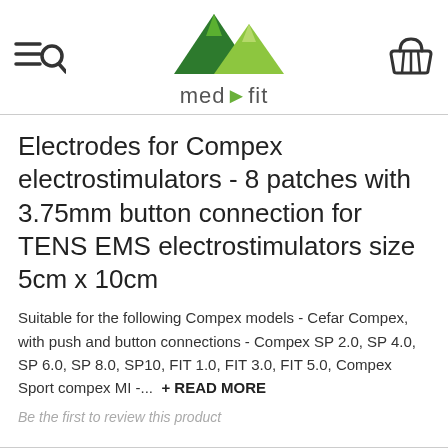[Figure (logo): med-fit logo with two green mountain peaks and the text 'med-fit' with a green arrow play button between the words]
Electrodes for Compex electrostimulators - 8 patches with 3.75mm button connection for TENS EMS electrostimulators size 5cm x 10cm
Suitable for the following Compex models - Cefar Compex, with push and button connections - Compex SP 2.0, SP 4.0, SP 6.0, SP 8.0, SP10, FIT 1.0, FIT 3.0, FIT 5.0, Compex Sport compex MI -... + READ MORE
Be the first to review this product